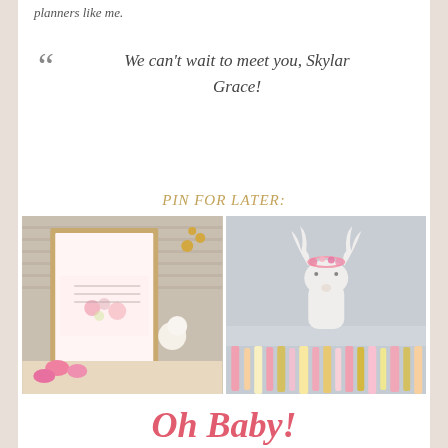planners like me.
We can't wait to meet you, Skylar Grace!
PIN FOR LATER:
[Figure (photo): Left photo: A framed floral print sign reading 'I'm so momma's world & my daddy's girl' surrounded by pink macarons, flowers, and baby shower decorations on a table.]
[Figure (photo): Right photo: A white ceramic deer/stag head wall mount with pink floral crown, with pink and gold ribbon garland hanging below.]
Oh Baby!